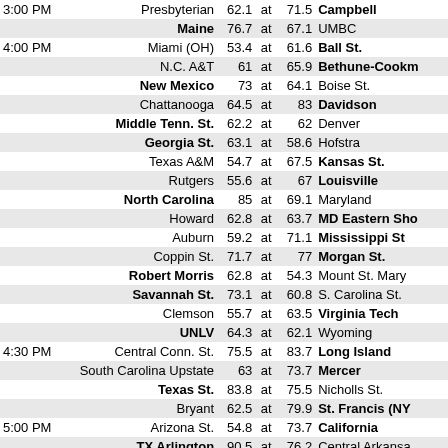| Time | Away Team | Away Score | at | Home Score | Home Team |
| --- | --- | --- | --- | --- | --- |
| 3:00 PM | Presbyterian | 62.1 | at | 71.5 | Campbell |
|  | Maine | 76.7 | at | 67.1 | UMBC |
| 4:00 PM | Miami (OH) | 53.4 | at | 61.6 | Ball St. |
|  | N.C. A&T | 61 | at | 65.9 | Bethune-Cookman |
|  | New Mexico | 73 | at | 64.1 | Boise St. |
|  | Chattanooga | 64.5 | at | 83 | Davidson |
|  | Middle Tenn. St. | 62.2 | at | 62 | Denver |
|  | Georgia St. | 63.1 | at | 58.6 | Hofstra |
|  | Texas A&M | 54.7 | at | 67.5 | Kansas St. |
|  | Rutgers | 55.6 | at | 67 | Louisville |
|  | North Carolina | 85 | at | 69.1 | Maryland |
|  | Howard | 62.8 | at | 63.7 | MD Eastern Shore |
|  | Auburn | 59.2 | at | 71.1 | Mississippi St. |
|  | Coppin St. | 71.7 | at | 77 | Morgan St. |
|  | Robert Morris | 62.8 | at | 54.3 | Mount St. Mary's |
|  | Savannah St. | 73.1 | at | 60.8 | S. Carolina St. |
|  | Clemson | 55.7 | at | 63.5 | Virginia Tech |
|  | UNLV | 64.3 | at | 62.1 | Wyoming |
| 4:30 PM | Central Conn. St. | 75.5 | at | 83.7 | Long Island |
|  | South Carolina Upstate | 63 | at | 73.7 | Mercer |
|  | Texas St. | 83.8 | at | 75.5 | Nicholls St. |
|  | Bryant | 62.5 | at | 79.9 | St. Francis (NY) |
| 5:00 PM | Arizona St. | 54.8 | at | 73.7 | California |
|  | TX Arlington | 90.5 | at | 76.2 | Central Arkansas |
|  | Air Force | 57.8 | at | 67.1 | Colorado St. |
|  | Rice | 66.4 | at | 72.7 | East Carolina |